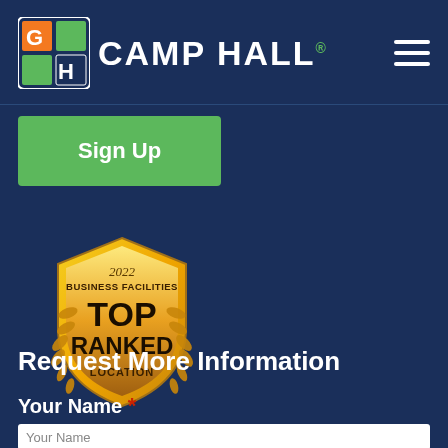CAMP HALL
Sign Up
[Figure (illustration): 2022 Business Facilities Top Ranked Location gold shield badge with laurel wreath]
Request More Information
Your Name *